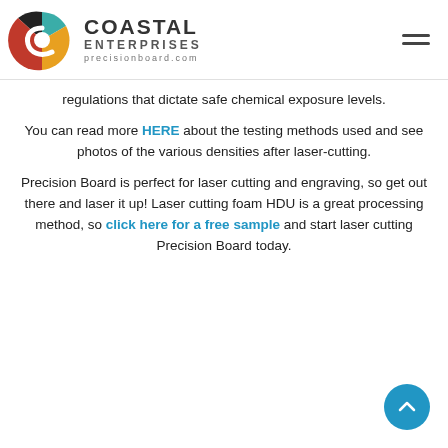Coastal Enterprises — precisionboard.com
regulations that dictate safe chemical exposure levels.
You can read more HERE about the testing methods used and see photos of the various densities after laser-cutting.
Precision Board is perfect for laser cutting and engraving, so get out there and laser it up! Laser cutting foam HDU is a great processing method, so click here for a free sample and start laser cutting Precision Board today.